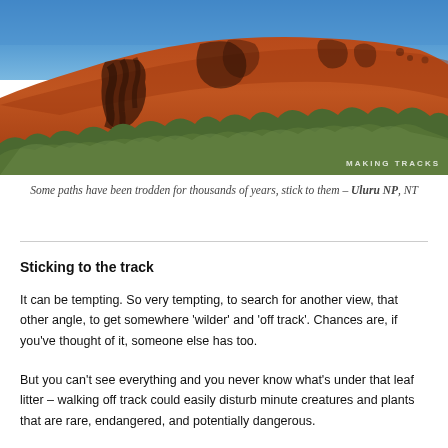[Figure (photo): Photograph of Uluru (Ayers Rock) showing the massive red sandstone rock formation with dark streaks and markings against a bright blue sky, with scrubby green vegetation in the foreground. Watermark text 'MAKING TRACKS' appears in the lower right corner.]
Some paths have been trodden for thousands of years, stick to them – Uluru NP, NT
Sticking to the track
It can be tempting. So very tempting, to search for another view, that other angle, to get somewhere 'wilder' and 'off track'. Chances are, if you've thought of it, someone else has too.
But you can't see everything and you never know what's under that leaf litter – walking off track could easily disturb minute creatures and plants that are rare, endangered, and potentially dangerous.